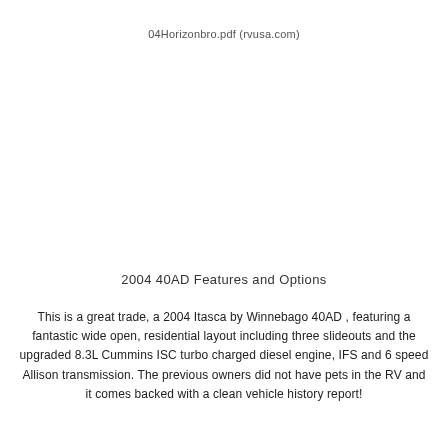04Horizonbro.pdf (rvusa.com)
2004 40AD Features and Options
This is a great trade, a 2004 Itasca by Winnebago 40AD , featuring a fantastic wide open, residential layout including three slideouts and the upgraded 8.3L Cummins ISC turbo charged diesel engine, IFS and 6 speed Allison transmission. The previous owners did not have pets in the RV and it comes backed with a clean vehicle history report!